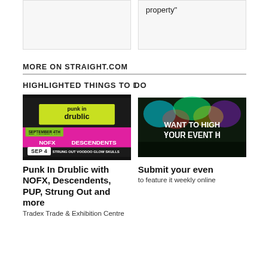property"
MORE ON STRAIGHT.COM
HIGHLIGHTED THINGS TO DO
[Figure (photo): Punk In Drublic festival poster with NOFX, Descendents, PUP, Strung Out and more. September 4th, Abbotsford BC Tradex. SEP 4 badge.]
Punk In Drublic with NOFX, Descendents, PUP, Strung Out and more
Tradex Trade & Exhibition Centre
[Figure (photo): Concert crowd with colorful lights. Text: WANT TO HIGH YOUR EVENT H]
Submit your even
to feature it weekly online